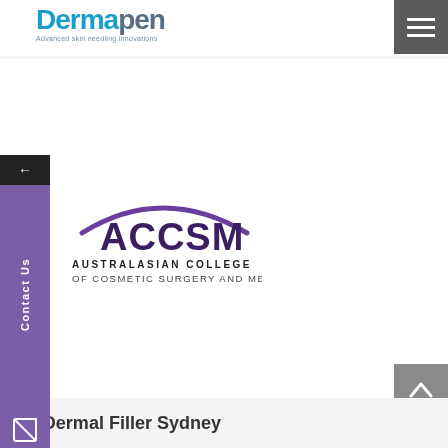Dermapen Advanced skin needling innovations
[Figure (logo): ACCSM - Australasian College of Cosmetic Surgery and Medicine logo with purple arc and stylized text]
+ Dermal Filler Sydney